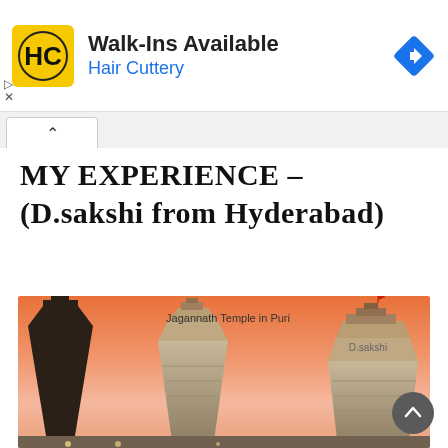[Figure (screenshot): Advertisement banner for Hair Cuttery showing HC logo on yellow background, 'Walk-Ins Available' text, 'Hair Cuttery' in blue, and a blue navigation diamond icon on the right.]
MY EXPERIENCE –
(D.sakshi from Hyderabad)
[Figure (photo): Photograph of Jagannath Temple in Puri at sunset/dusk with orange sky. Three ornate temple towers (shikharas) are visible. Text overlay reads 'Jagannath Temple in Puri' and 'D.sakshi'.]